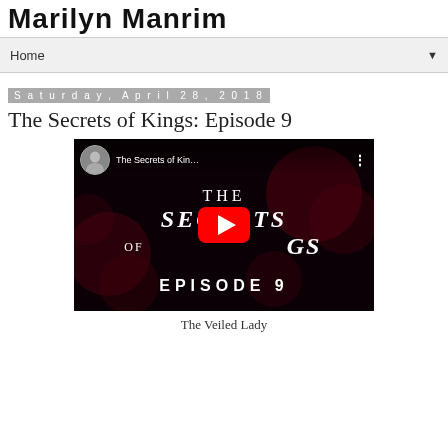Marilyn Manrim
Home
Saturday, April 28, 2018
The Secrets of Kings: Episode 9
[Figure (screenshot): YouTube video thumbnail for 'The Secrets of Kings Episode 9' showing dark background with decorative text 'THE SECRETS OF KINGS EPISODE 9' with a YouTube play button in the center and a channel avatar in the top left corner.]
The Veiled Lady